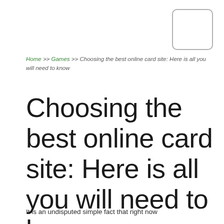[Figure (other): Rounded rectangle logo/image placeholder box in top right corner]
Home >> Games >> Choosing the best online card site: Here is all you will need to know
Choosing the best online card site: Here is all you will need to know
It is an undisputed simple fact that right now